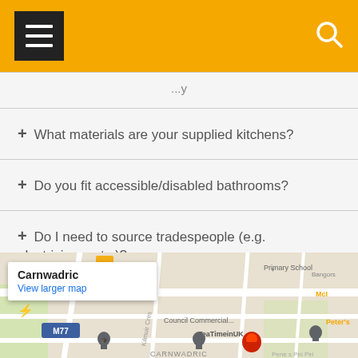[hamburger menu] [search icon]
+ What materials are your supplied kitchens?
+ Do you fit accessible/disabled bathrooms?
+ Do I need to source tradespeople (e.g. electricians, etc.)?
+ Is your installation guaranteed?
[Figure (map): Google Maps screenshot showing Carnwadric area with map pins, street labels including Primary School, Council Commercial, TeaTimeinUK, Bangors, Peter's, M77 motorway, with a popup showing 'Carnwadric' and 'View larger map' link.]